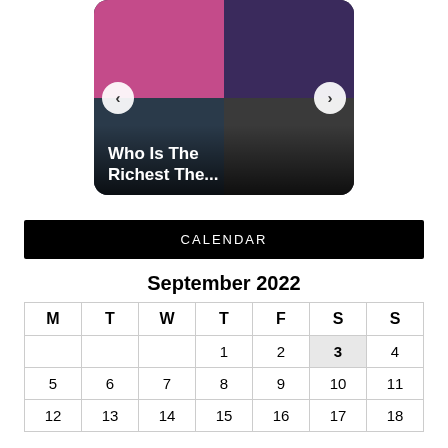[Figure (photo): Image carousel card showing a mosaic of celebrity photos with navigation arrows (left/right) and overlay text 'Who Is The Richest The...']
CALENDAR
September 2022
| M | T | W | T | F | S | S |
| --- | --- | --- | --- | --- | --- | --- |
|  |  |  | 1 | 2 | 3 | 4 |
| 5 | 6 | 7 | 8 | 9 | 10 | 11 |
| 12 | 13 | 14 | 15 | 16 | 17 | 18 |